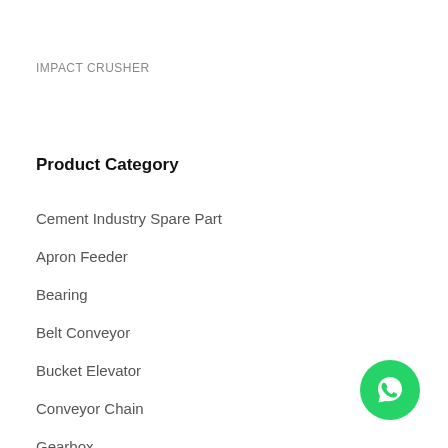IMPACT CRUSHER
Product Category
Cement Industry Spare Part
Apron Feeder
Bearing
Belt Conveyor
Bucket Elevator
Conveyor Chain
Gearbox
Mill and Crusher
[Figure (logo): WhatsApp contact button — green circle with white WhatsApp phone/chat icon]